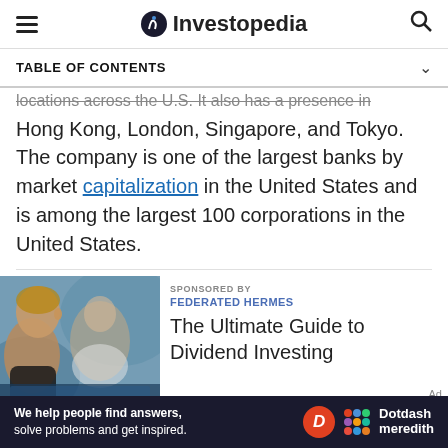Investopedia
TABLE OF CONTENTS
locations across the U.S. It also has a presence in Hong Kong, London, Singapore, and Tokyo. The company is one of the largest banks by market capitalization in the United States and is among the largest 100 corporations in the United States.
[Figure (photo): Two women in an office setting, one looking down at a screen]
SPONSORED BY
FEDERATED HERMES
The Ultimate Guide to Dividend Investing
We help people find answers, solve problems and get inspired. Dotdash meredith